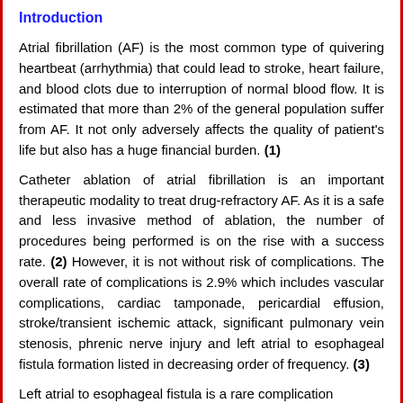Introduction
Atrial fibrillation (AF) is the most common type of quivering heartbeat (arrhythmia) that could lead to stroke, heart failure, and blood clots due to interruption of normal blood flow. It is estimated that more than 2% of the general population suffer from AF. It not only adversely affects the quality of patient's life but also has a huge financial burden. (1)
Catheter ablation of atrial fibrillation is an important therapeutic modality to treat drug-refractory AF. As it is a safe and less invasive method of ablation, the number of procedures being performed is on the rise with a success rate. (2) However, it is not without risk of complications. The overall rate of complications is 2.9% which includes vascular complications, cardiac tamponade, pericardial effusion, stroke/transient ischemic attack, significant pulmonary vein stenosis, phrenic nerve injury and left atrial to esophageal fistula formation listed in decreasing order of frequency. (3)
Left atrial to esophageal fistula is a rare complication